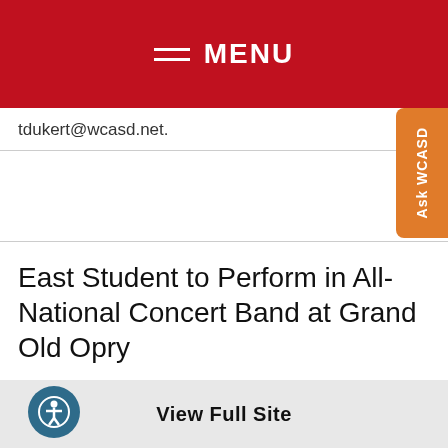MENU
tdukert@wcasd.net.
East Student to Perform in All-National Concert Band at Grand Old Opry
The National Association for Music Education has selected East High School senior Matthew Hontz to perform in the 2015 All-National Concert Band.
View Full Site